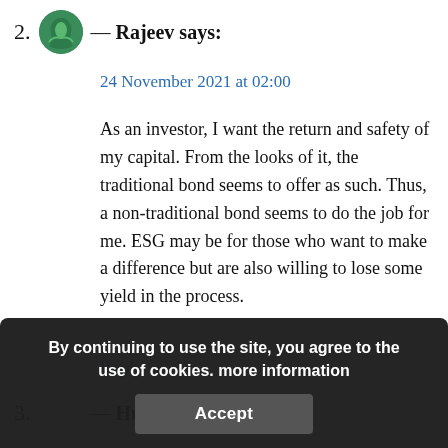2. — Rajeev says:
24 November 2021 at 02:00
As an investor, I want the return and safety of my capital. From the looks of it, the traditional bond seems to offer as such. Thus, a non-traditional bond seems to do the job for me. ESG may be for those who want to make a difference but are also willing to lose some yield in the process.
Reply
3. — Hunar says:
10 January 2022 at ...
Best way to share Green Bonds vs. Traditional Bonds. Are traditional bonds more safer then
By continuing to use the site, you agree to the use of cookies. more information
Accept